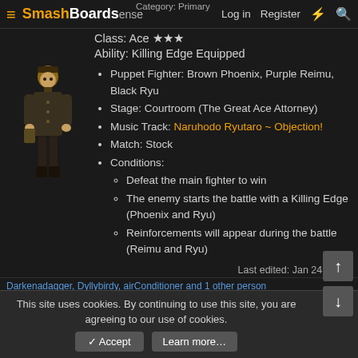Category: Primary | SmashBoardsense | Log in | Register
Class: Ace ★★★
Ability: Killing Edge Equipped
Puppet Fighter: Brown Phoenix, Purple Reimu, Black Ryu
Stage: Courtroom (The Great Ace Attorney)
Music Track: Naruhodo Ryutaro ~ Objection!
Match: Stock
Conditions:
Defeat the main fighter to win
The enemy starts the battle with a Killing Edge (Phoenix and Ryu)
Reinforcements will appear during the battle (Reimu and Ryu)
Last edited: Jan 24, 2022
Darkenadagger, Dyllybirdy, airConditioner and 1 other person
This site uses cookies. By continuing to use this site, you are agreeing to our use of cookies.